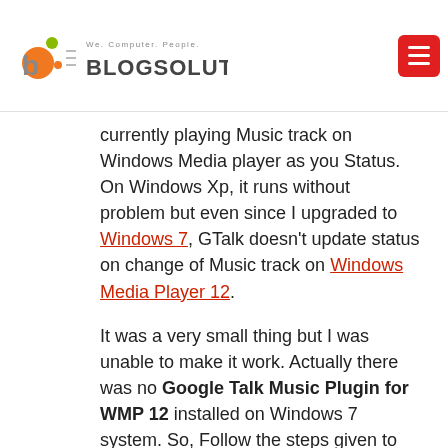Blogsolute — We. Computer. People.
currently playing Music track on Windows Media player as you Status. On Windows Xp, it runs without problem but even since I upgraded to Windows 7, GTalk doesn't update status on change of Music track on Windows Media Player 12.
It was a very small thing but I was unable to make it work. Actually there was no Google Talk Music Plugin for WMP 12 installed on Windows 7 system. So, Follow the steps given to start showing the